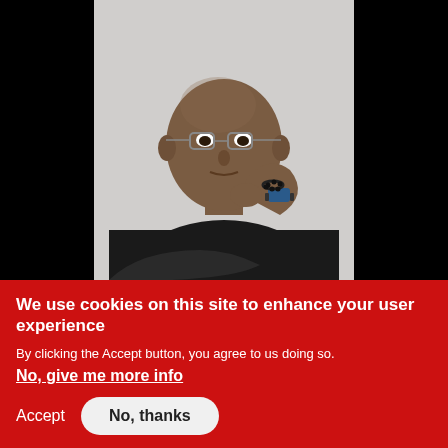[Figure (photo): A bald man wearing glasses, a black shirt, and a watch with a beaded bracelet, posing with his hand under his chin in a thinking pose against a white/grey backdrop, flanked by black areas on both sides.]
We use cookies on this site to enhance your user experience
By clicking the Accept button, you agree to us doing so.
No, give me more info
Accept
No, thanks